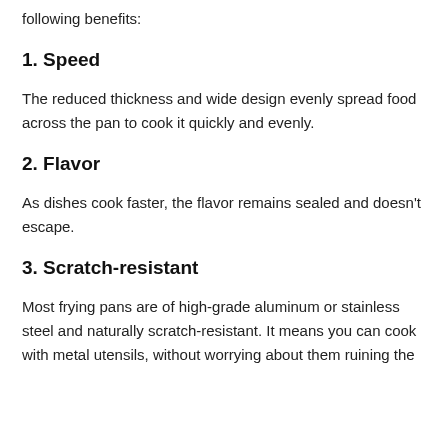following benefits:
1. Speed
The reduced thickness and wide design evenly spread food across the pan to cook it quickly and evenly.
2. Flavor
As dishes cook faster, the flavor remains sealed and doesn't escape.
3. Scratch-resistant
Most frying pans are of high-grade aluminum or stainless steel and naturally scratch-resistant. It means you can cook with metal utensils, without worrying about them ruining the coating of your